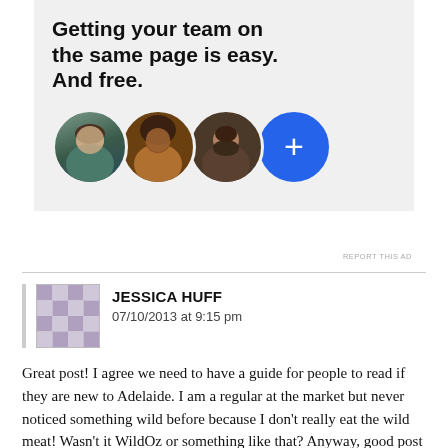[Figure (infographic): Advertisement banner with heading 'Getting your team on the same page is easy. And free.' with three circular profile photo avatars and a blue plus button circle]
REPORT THIS AD
JESSICA HUFF
07/10/2013 at 9:15 pm
Great post! I agree we need to have a guide for people to read if they are new to Adelaide. I am a regular at the market but never noticed something wild before because I don't really eat the wild meat! Wasn't it WildOz or something like that? Anyway, good post and looking forward to reading more!